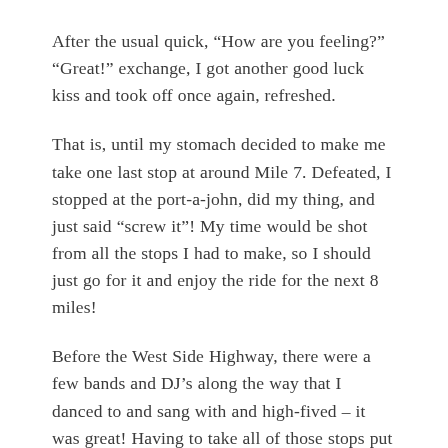After the usual quick, “How are you feeling?” “Great!” exchange, I got another good luck kiss and took off once again, refreshed.
That is, until my stomach decided to make me take one last stop at around Mile 7. Defeated, I stopped at the port-a-john, did my thing, and just said “screw it”! My time would be shot from all the stops I had to make, so I should just go for it and enjoy the ride for the next 8 miles!
Before the West Side Highway, there were a few bands and DJ’s along the way that I danced to and sang with and high-fived – it was great! Having to take all of those stops put me pretty solidly at the back of the pack, and while I wasn’t completely alone like I have been in other